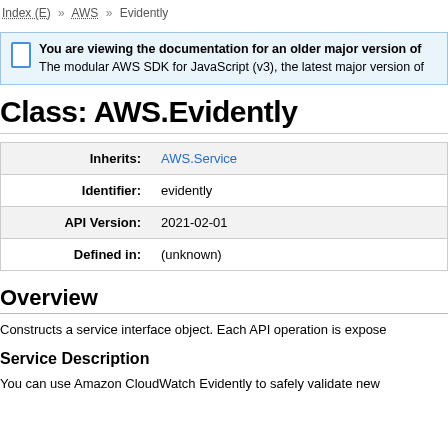Index (E) >> AWS >> Evidently
You are viewing the documentation for an older major version of The modular AWS SDK for JavaScript (v3), the latest major version of
Class: AWS.Evidently
| Field | Value |
| --- | --- |
| Inherits: | AWS.Service |
| Identifier: | evidently |
| API Version: | 2021-02-01 |
| Defined in: | (unknown) |
Overview
Constructs a service interface object. Each API operation is expose
Service Description
You can use Amazon CloudWatch Evidently to safely validate new